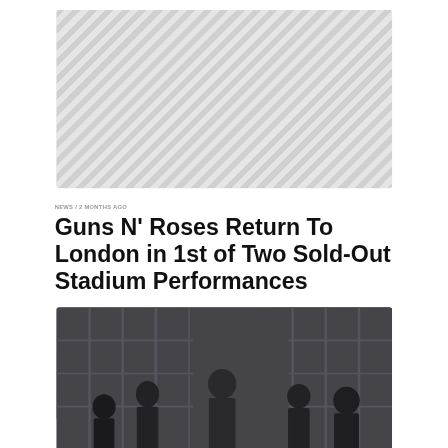[Figure (photo): Placeholder image with diagonal grey stripes pattern, representing the header image of the article]
NEWS / 2 MONTHS AGO
Guns N' Roses Return To London in 1st of Two Sold-Out Stadium Performances
[Figure (photo): Band photo of Guns N' Roses members standing in front of metal scaffolding structure, dark industrial background]